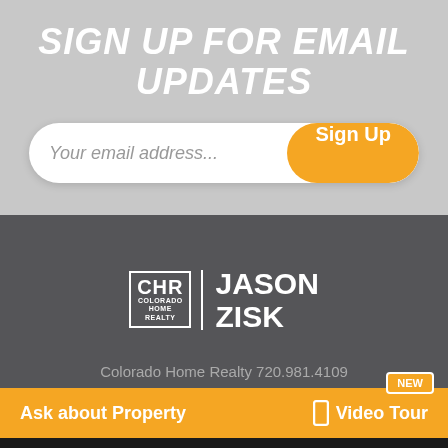SIGN UP FOR EMAIL UPDATES
[Figure (screenshot): Email signup form with text input 'Your email address...' and orange 'Sign Up' button]
[Figure (logo): CHR Colorado Home Realty | Jason Zisk logo in white on dark gray background]
Colorado Home Realty 720.981.4109
Ask about Property
Video Tour
NEW